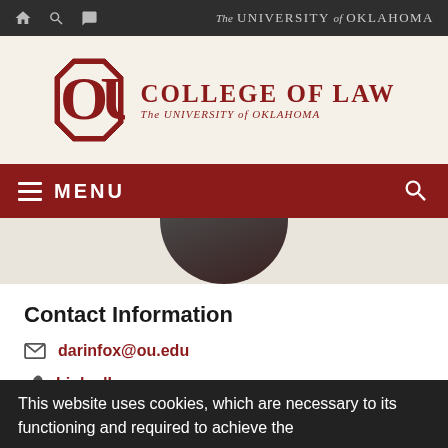The UNIVERSITY of OKLAHOMA
[Figure (logo): OU College of Law logo — University of Oklahoma interlocking OU symbol in crimson with 'COLLEGE OF LAW / The University of Oklahoma' text]
MENU
[Figure (photo): Circular cropped portrait photo, only lower arc visible against beige background]
Contact Information
darinfox@ou.edu
LinkedIn
Professor Fox's Scholarship
This website uses cookies, which are necessary to its functioning and required to achieve the